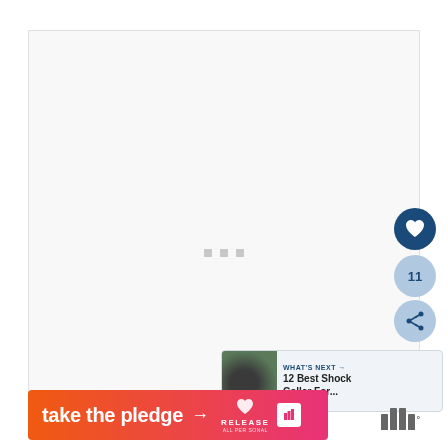[Figure (screenshot): Large light gray content area placeholder with three small gray dots in the center, representing a loading or empty media/video area.]
[Figure (infographic): Social interaction buttons: heart/like button (dark blue circle with heart icon), like count '11' in a light blue circle, and share button (light blue circle with share icon).]
11
[Figure (infographic): WHAT'S NEXT card: thumbnail of a black dog, label 'WHAT'S NEXT →', title '12 Best Shock Collar For...']
[Figure (infographic): Ad banner: orange-to-pink gradient with white text 'take the pledge →', RELEASE logo with heart icon, ad icon square, and Millennial media logo (bar chart with dot).]